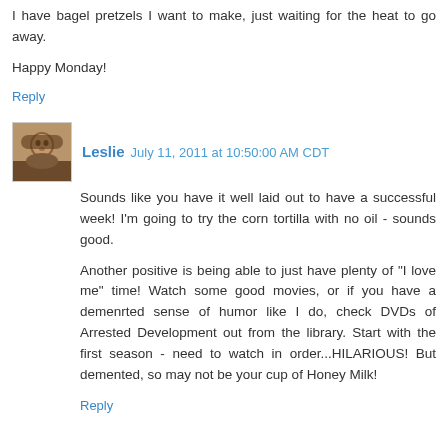I have bagel pretzels I want to make, just waiting for the heat to go away.
Happy Monday!
Reply
Leslie  July 11, 2011 at 10:50:00 AM CDT
Sounds like you have it well laid out to have a successful week! I'm going to try the corn tortilla with no oil - sounds good.
Another positive is being able to just have plenty of "I love me" time! Watch some good movies, or if you have a demenrted sense of humor like I do, check DVDs of Arrested Development out from the library. Start with the first season - need to watch in order...HILARIOUS! But demented, so may not be your cup of Honey Milk!
Reply